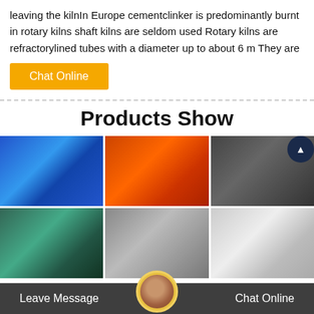leaving the kilnIn Europe cementclinker is predominantly burnt in rotary kilns shaft kilns are seldom used Rotary kilns are refractorylined tubes with a diameter up to about 6 m They are
Chat Online
Products Show
[Figure (photo): Blue industrial grinding mill machines in a factory warehouse]
[Figure (photo): Large orange cylindrical ball mill outdoors]
[Figure (photo): Gray industrial impact crusher machine]
[Figure (photo): Industrial thickener or clarifier tank from above]
[Figure (photo): Large rotary kiln or ball mill with yellow pipes]
[Figure (photo): White industrial mill or grinder machine with gears]
Leave Message
Chat Online